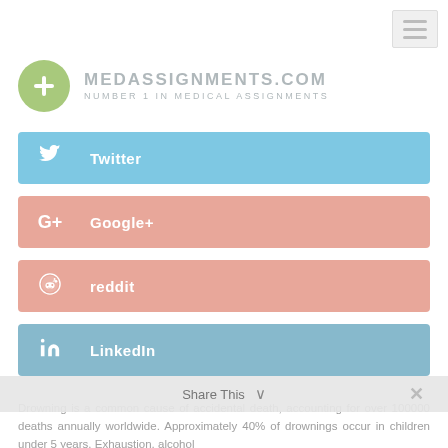[Figure (logo): Medassignments.com logo with green circle plus icon and grey text: MEDASSIGNMENTS.COM / NUMBER 1 IN MEDICAL ASSIGNMENTS]
Twitter
Google+
reddit
LinkedIn
Drowning is a common cause of accidental death, accounting for over 100000 deaths annually worldwide. Approximately 40% of drownings occur in children under 5 years. Exhaustion, alcohol, drugs, and hypothermia all contribute to accidental drowning.